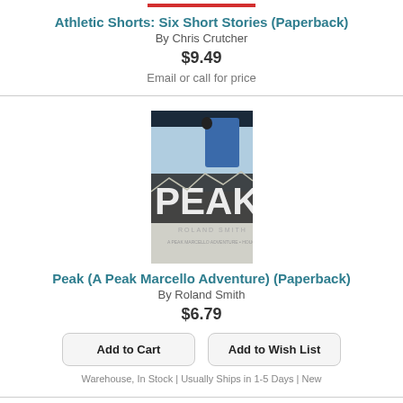Athletic Shorts: Six Short Stories (Paperback)
By Chris Crutcher
$9.49
Email or call for price
[Figure (photo): Book cover of 'Peak' by Roland Smith showing a mountain climber against snowy peaks]
Peak (A Peak Marcello Adventure) (Paperback)
By Roland Smith
$6.79
Add to Cart
Add to Wish List
Warehouse, In Stock | Usually Ships in 1-5 Days | New
[Figure (photo): Partial book cover showing 'IT'S' text on a pink/purple background]